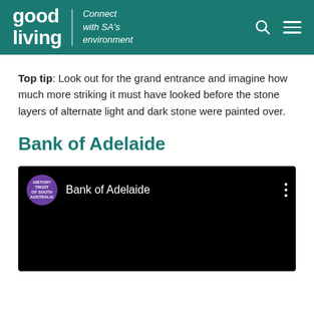good living | Connect with SA's environment
Top tip: Look out for the grand entrance and imagine how much more striking it must have looked before the stone layers of alternate light and dark stone were painted over.
Bank of Adelaide
[Figure (screenshot): YouTube-style video embed with black background showing 'Bank of Adelaide' title and History Trust of South Australia channel avatar (purple circle with white text)]